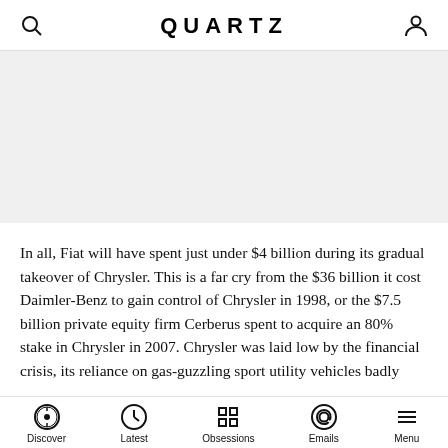QUARTZ
[Figure (other): Gray advertisement or image placeholder area]
In all, Fiat will have spent just under $4 billion during its gradual takeover of Chrysler. This is a far cry from the $36 billion it cost Daimler-Benz to gain control of Chrysler in 1998, or the $7.5 billion private equity firm Cerberus spent to acquire an 80% stake in Chrysler in 2007. Chrysler was laid low by the financial crisis, its reliance on gas-guzzling sport utility vehicles badly
Discover  Latest  Obsessions  Emails  Menu